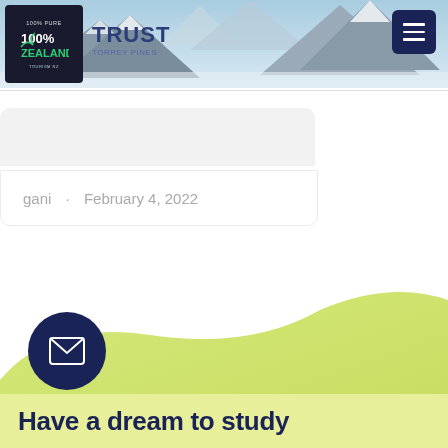[Figure (screenshot): Website header with 100% Pure New Zealand logo on dark background, mountains landscape, TRUST text, and hamburger menu button]
gani · February 4, 2022
[Figure (illustration): Yellow-green wave/hill shape forming background section at bottom of page]
[Figure (illustration): Dark navy circle with white envelope/mail icon]
Have a dream to study